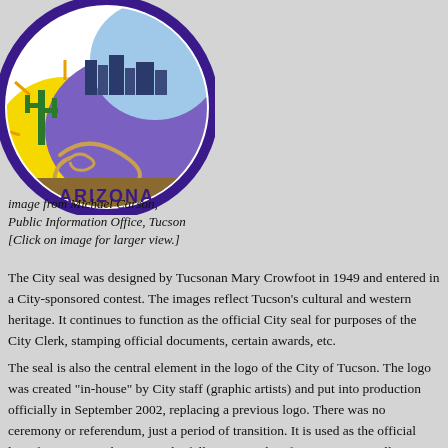[Figure (logo): City of Tucson, Arizona official seal — circular seal with purple border, featuring a yellow sun, saguaro cactus, city skyline, purple mountain, and a rope/lasso, with the word ARIZONA at the bottom.]
image from Michael Carson, Public Information Office, Tucson [Click on image for larger view.]
The City seal was designed by Tucsonan Mary Crowfoot in 1949 and entered in a City-sponsored contest. The images reflect Tucson's cultural and western heritage. It continues to function as the official City seal for purposes of the City Clerk, stamping official documents, certain awards, etc.
The seal is also the central element in the logo of the City of Tucson. The logo was created "in-house" by City staff (graphic artists) and put into production officially in September 2002, replacing a previous logo. There was no ceremony or referendum, just a period of transition. It is used as the official logo for most City business. The following is taken from a memo to all City employees from Tucson City Manager James Keene.